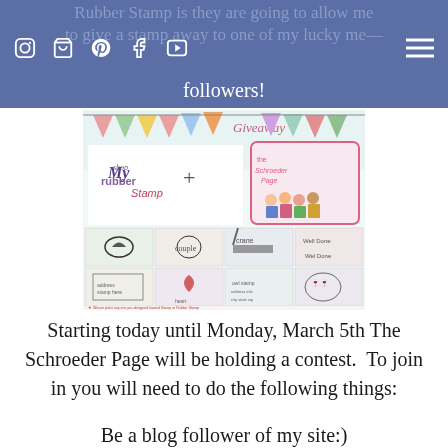Rubber Stamp is they are going to allow me to give a stamp away to one of my lucky followers!
[Figure (illustration): Giveaway promotional image showing 'My Rubber Stamp' shop logo plus The Schroeder Page logo, with a grid of 8 custom rubber stamp designs (mustache, couple on bike, crane, well done bird, address stamp, heart, owl, wine glasses), with caption text about winner picking one pre-designed Inwood Stamp or Rubber Stamp from shop.]
Starting today until Monday, March 5th The Schroeder Page will be holding a contest.  To join in you will need to do the following things:
Be a blog follower of my site:)